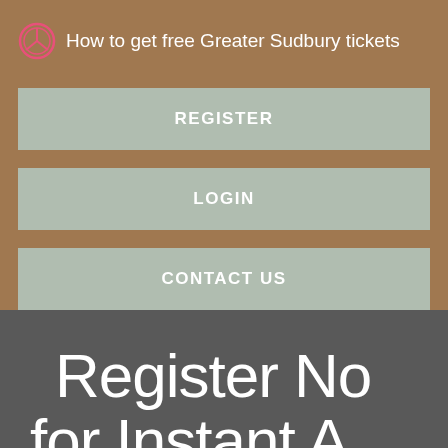How to get free Greater Sudbury tickets
REGISTER
LOGIN
CONTACT US
Register No
for Instant A